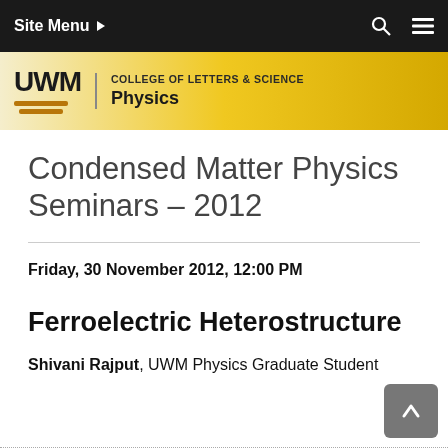Site Menu
[Figure (logo): UWM College of Letters & Science Physics header banner with UWM logo]
Condensed Matter Physics Seminars – 2012
Friday, 30 November 2012, 12:00 PM
Ferroelectric Heterostructure
Shivani Rajput, UWM Physics Graduate Student